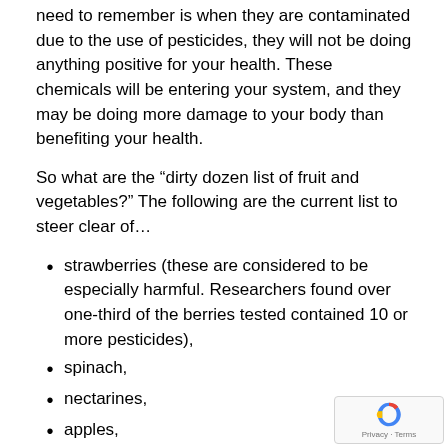need to remember is when they are contaminated due to the use of pesticides, they will not be doing anything positive for your health. These chemicals will be entering your system, and they may be doing more damage to your body than benefiting your health.
So what are the “dirty dozen list of fruit and vegetables?” The following are the current list to steer clear of…
strawberries (these are considered to be especially harmful. Researchers found over one-third of the berries tested contained 10 or more pesticides),
spinach,
nectarines,
apples,
peaches,
pears,
cherries,
grapes,